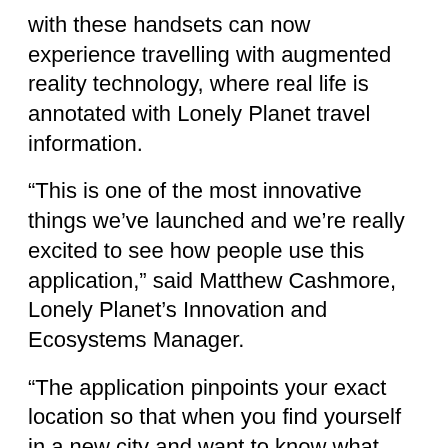with these handsets can now experience travelling with augmented reality technology, where real life is annotated with Lonely Planet travel information.
“This is one of the most innovative things we’ve launched and we’re really excited to see how people use this application,” said Matthew Cashmore, Lonely Planet’s Innovation and Ecosystems Manager.
“The application pinpoints your exact location so that when you find yourself in a new city and want to know what there is to see and do around you, just look through the camera and a wealth of Lonely Planet information on the best destinations, accommodation, sites, bars and restaurants appear stuck like posted notes to points of interest around you,” said Cashmore.
Key features of the Compass Guides include GPS enabled maps and location based information for hundreds of points of interest for every city, while the phone’s built in compass allows users to see their current location and how far or near they are to destinations and sites. The guides also enable